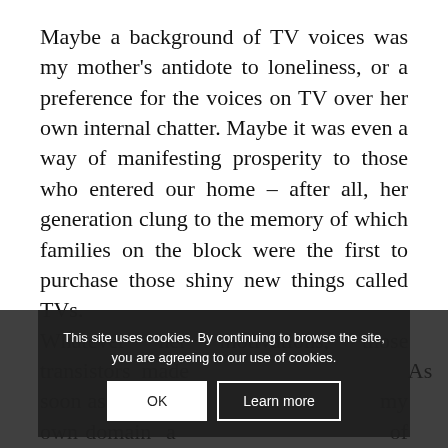Maybe a background of TV voices was my mother's antidote to loneliness, or a preference for the voices on TV over her own internal chatter. Maybe it was even a way of manifesting prosperity to those who entered our home – after all, her generation clung to the memory of which families on the block were the first to purchase those shiny new things called TVs. Whatever her motivations, those transistors made my childhood love life. As soon as I became the master of my own domain and a parent of young children, I put a value on silence, on peace, and on being careful to not disturb others.
This site uses cookies. By continuing to browse the site, you are agreeing to our use of cookies.